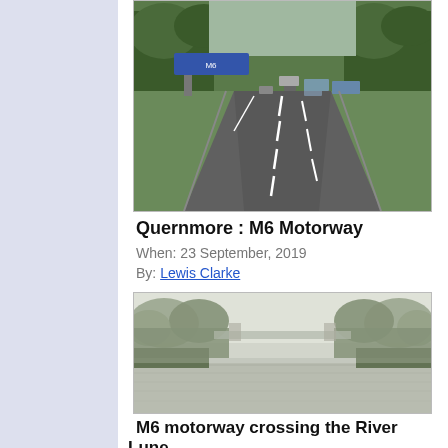[Figure (photo): View from a motorway looking ahead at a multi-lane road with vehicles, green trees on sides, road signs visible, taken at Quernmore on M6 Motorway]
Quernmore : M6 Motorway
When: 23 September, 2019
By: Lewis Clarke
[Figure (photo): M6 motorway crossing the River Lune, misty river scene with trees on both banks and a bridge visible in the background]
M6 motorway crossing the River Lune
When: 18 September, 2018
By: Mat Fascione